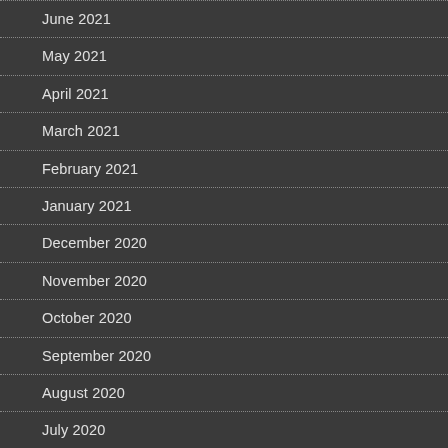June 2021
May 2021
April 2021
March 2021
February 2021
January 2021
December 2020
November 2020
October 2020
September 2020
August 2020
July 2020
June 2020